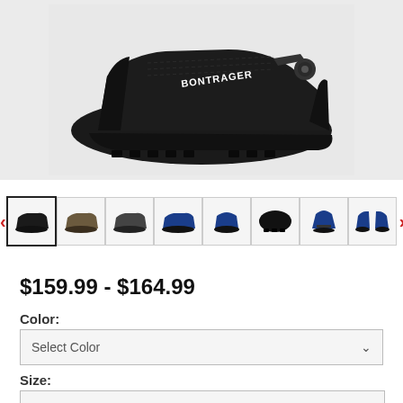[Figure (photo): Main product image of a black Bontrager cycling shoe (MTB) shown from the side on a light gray background]
[Figure (photo): Thumbnail gallery row showing 8 cycling shoes in various colors and angles: black side view (selected), brown/olive side view, dark gray side view, blue side view, blue front angle, black bottom view, blue front view, blue front pair view. Left and right navigation arrows on either side.]
$159.99 - $164.99
Color:
Select Color
Size: